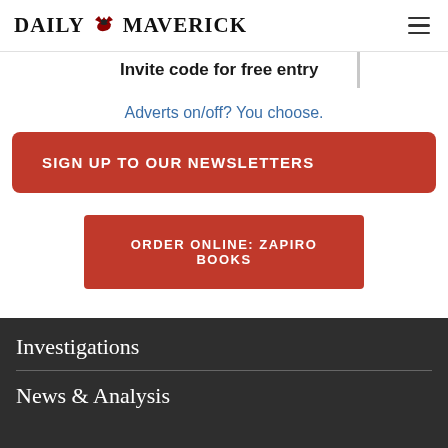DAILY MAVERICK
Invite code for free entry
Adverts on/off? You choose.
SIGN UP TO OUR NEWSLETTERS
ORDER ONLINE: ZAPIRO BOOKS
Investigations
News & Analysis